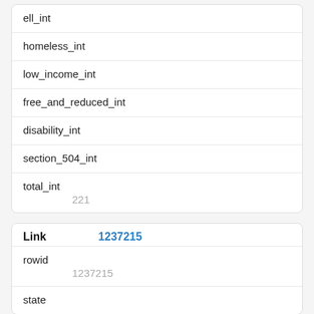| ell_int |  |
| homeless_int |  |
| low_income_int |  |
| free_and_reduced_int |  |
| disability_int |  |
| section_504_int |  |
| total_int | 221 |
| Link | 1237215 |
| --- | --- |
| rowid | 1237215 |
| state |  |